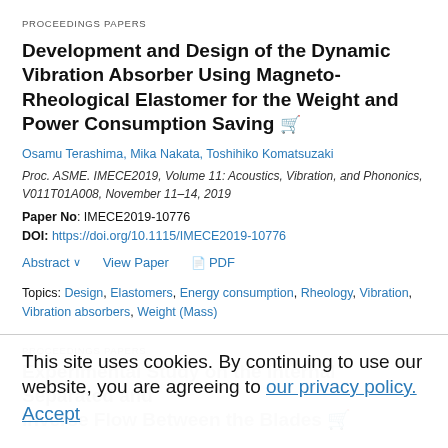PROCEEDINGS PAPERS
Development and Design of the Dynamic Vibration Absorber Using Magneto-Rheological Elastomer for the Weight and Power Consumption Saving
Osamu Terashima, Mika Nakata, Toshihiko Komatsuzaki
Proc. ASME. IMECE2019, Volume 11: Acoustics, Vibration, and Phononics, V011T01A008, November 11–14, 2019
Paper No: IMECE2019-10776
DOI: https://doi.org/10.1115/IMECE2019-10776
Abstract  View Paper  PDF
Topics: Design, Elastomers, Energy consumption, Rheology, Vibration, Vibration absorbers, Weight (Mass)
This site uses cookies. By continuing to use our website, you are agreeing to our privacy policy. Accept